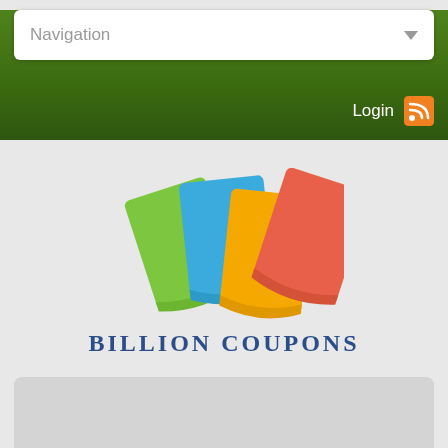Navigation
Login
[Figure (logo): Billion Coupons logo with four fanned colorful cards (green, blue, yellow/orange, red-orange) above the text BILLION COUPONS in bold dark blue serif font]
[Figure (other): Empty gray panel at the bottom of the page]